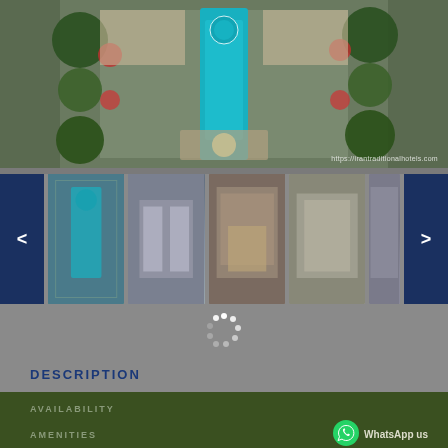[Figure (photo): Aerial view of a traditional hotel with a long turquoise pool and garden courtyards, with URL watermark https://irantraditionalhotels.com]
[Figure (photo): Thumbnail carousel showing 4-5 hotel images with previous/next navigation buttons]
[Figure (other): Loading spinner (circular dots loader)]
DESCRIPTION
AVAILABILITY
AMENITIES
REVIEWS
THINGS TO DO
WhatsApp us